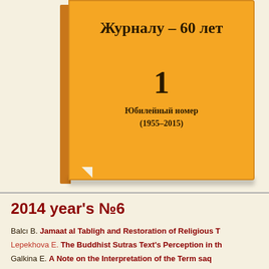[Figure (illustration): Orange book cover with Russian text 'Журналу – 60 лет', number '1', and subtitle 'Юбилейный номер (1955–2015)']
2014 year's №6
Balcı B. Jamaat al Tabligh and Restoration of Religious T...
Lepekhova E. The Buddhist Sutras Text's Perception in th...
Galkina E. A Note on the Interpretation of the Term saq...